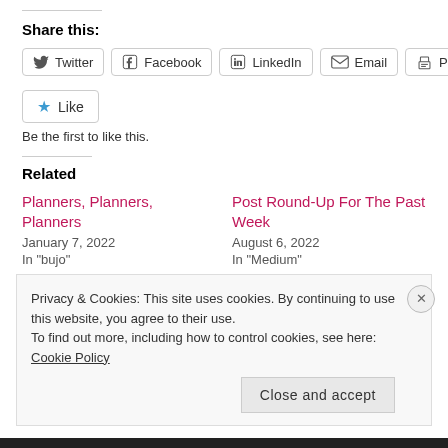Share this:
Twitter | Facebook | LinkedIn | Email | Print
Like — Be the first to like this.
Related
Planners, Planners, Planners
January 7, 2022
In "bujo"
Post Round-Up For The Past Week
August 6, 2022
In "Medium"
Privacy & Cookies: This site uses cookies. By continuing to use this website, you agree to their use.
To find out more, including how to control cookies, see here: Cookie Policy
Close and accept